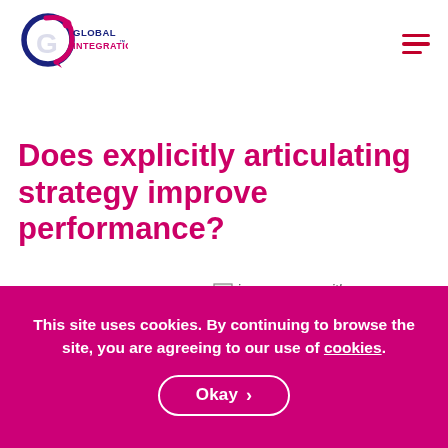[Figure (logo): Global Integration logo with circular arrow design in blue and pink, text reads GLOBAL INTEGRATION with trademark symbol]
Does explicitly articulating strategy improve performance?
Today's Matrix Monday post looks at an article
[Figure (illustration): image, maze with arrow]
This site uses cookies. By continuing to browse the site, you are agreeing to our use of cookies.
Okay >